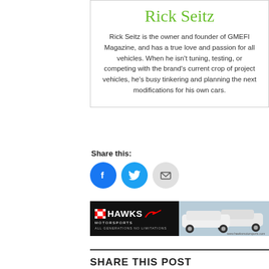Rick Seitz
Rick Seitz is the owner and founder of GMEFI Magazine, and has a true love and passion for all vehicles. When he isn't tuning, testing, or competing with the brand's current crop of project vehicles, he's busy tinkering and planning the next modifications for his own cars.
Share this:
[Figure (infographic): Social share buttons: Facebook (blue circle with f icon), Twitter (blue circle with bird icon), Email (gray circle with envelope icon)]
[Figure (photo): Hawks Motorsports advertisement banner. Left side has black background with checkered flag logo, HAWKS MOTORSPORTS text and tagline ALL GENERATIONS NO LIMITATIONS. Right side shows white Camaro cars.]
SHARE THIS POST